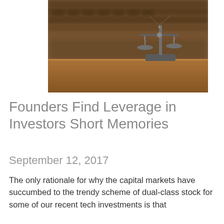[Figure (photo): A courtroom scene with wooden benches and a scales of justice statue on a wooden table, blurred background with jury box seating.]
Founders Find Leverage in Investors Short Memories
September 12, 2017
The only rationale for why the capital markets have succumbed to the trendy scheme of dual-class stock for some of our recent tech investments is that